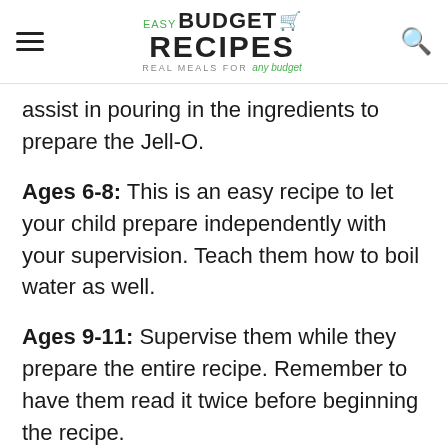EASY BUDGET RECIPES — REAL MEALS FOR any budget
assist in pouring in the ingredients to prepare the Jell-O.
Ages 6-8: This is an easy recipe to let your child prepare independently with your supervision. Teach them how to boil water as well.
Ages 9-11: Supervise them while they prepare the entire recipe. Remember to have them read it twice before beginning the recipe.
Ages 12+: Let them prepare the entire recipe...